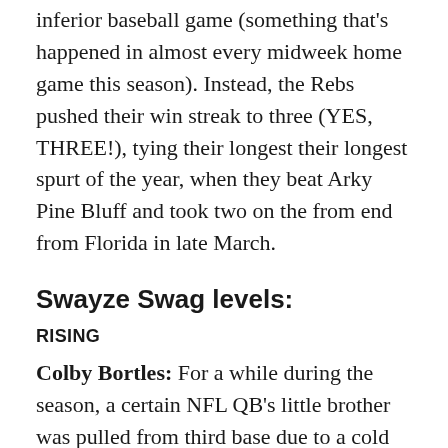inferior baseball game (something that's happened in almost every midweek home game this season). Instead, the Rebs pushed their win streak to three (YES, THREE!), tying their longest their longest spurt of the year, when they beat Arky Pine Bluff and took two on the from end from Florida in late March.
Swayze Swag levels:
RISING
Colby Bortles: For a while during the season, a certain NFL QB's little brother was pulled from third base due to a cold bat and a glove that left a bit lacking. However, Colby is all over the dish right now. After his game-saving grand slamerino against Vandy, he answered back with another grand slam into the Rebel bullpen last night. He also pulled another bomb